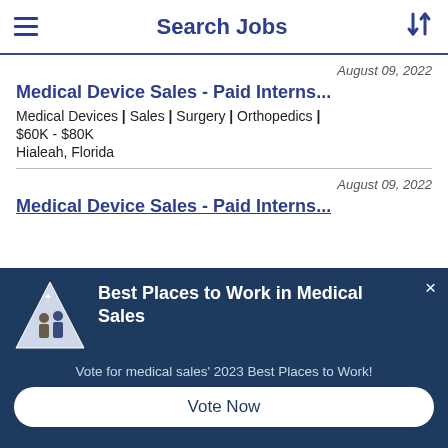Search Jobs
August 09, 2022
Medical Device Sales - Paid Interns...
Medical Devices | Sales | Surgery | Orthopedics | $60K - $80K
Hialeah, Florida
August 09, 2022
Medical Device Sales - Paid Interns...
[Figure (illustration): Modal overlay popup on dark blue background with a triangular award/trophy icon showing people working, bold white text 'Best Places to Work in Medical Sales', a close (x) button, subtext 'Vote for medical sales' 2023 Best Places to Work!', and a white rounded button labeled 'Vote Now']